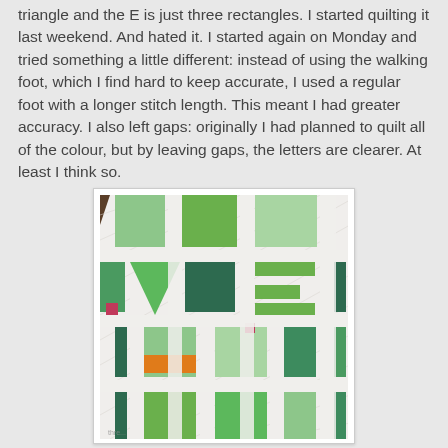triangle and the E is just three rectangles. I started quilting it last weekend. And hated it. I started again on Monday and tried something a little different: instead of using the walking foot, which I find hard to keep accurate, I used a regular foot with a longer stitch length. This meant I had greater accuracy. I also left gaps: originally I had planned to quilt all of the colour, but by leaving gaps, the letters are clearer. At least I think so.
[Figure (photo): A quilt featuring geometric letter shapes made from various shades of green fabric, with small accents of magenta/pink and orange, set against a white background with visible quilting stitch lines in a diagonal pattern.]